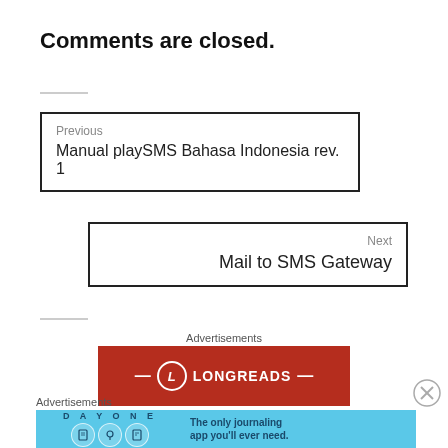Comments are closed.
Previous
Manual playSMS Bahasa Indonesia rev. 1
Next
Mail to SMS Gateway
Advertisements
[Figure (logo): LONGREADS logo on dark red background with circular L emblem and dashes]
Advertisements
[Figure (infographic): DAY ONE journaling app advertisement on light blue background with icons and text: The only journaling app you'll ever need.]